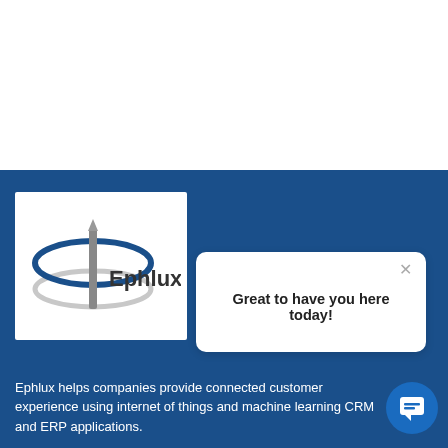[Figure (logo): Ephlux company logo — blue orbital ellipse with vertical grey bar and company name 'Ephlux' in dark text]
[Figure (screenshot): Chat widget popup with text 'Great to have you here today!' and a close X button, with a blue circular chat icon in bottom right]
Ephlux helps companies provide connected customer experience using internet of things and machine learning CRM and ERP applications.